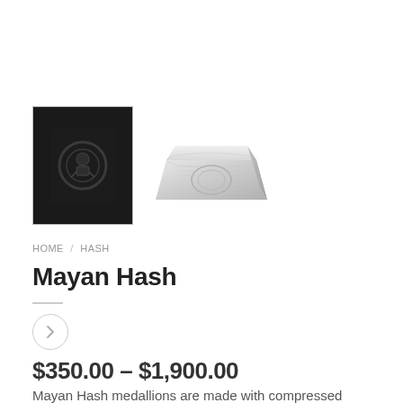[Figure (photo): Two product images: a dark black Mayan Hash medallion block (thumbnail, selected) and a silver/grey Mayan Hash medallion block (main image)]
HOME / HASH
Mayan Hash
$350.00 – $1,900.00
Mayan Hash medallions are made with compressed trichomes (kief) and compacted with immense pressure and